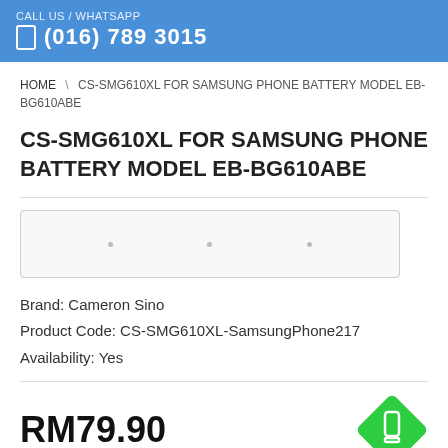CALL US / WHATSAPP (016) 789 3015
HOME \ CS-SMG610XL FOR SAMSUNG PHONE BATTERY MODEL EB-BG610ABE
CS-SMG610XL FOR SAMSUNG PHONE BATTERY MODEL EB-BG610ABE
[Figure (other): Product image carousel placeholder with three dots]
Brand: Cameron Sino
Product Code: CS-SMG610XL-SamsungPhone217
Availability: Yes
RM79.90